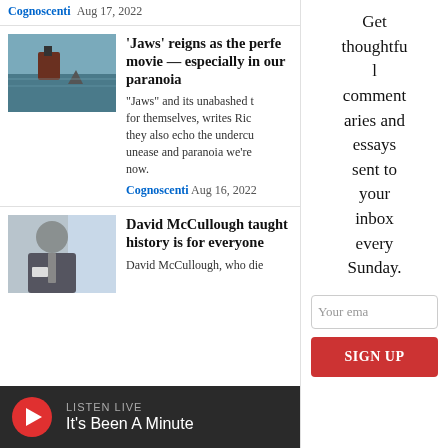Cognoscenti  Aug 17, 2022
[Figure (photo): Photo of a shark fin or scene from Jaws movie on ocean water]
'Jaws' reigns as the perfe movie — especially in our paranoia
"Jaws" and its unabashed t for themselves, writes Ric they also echo the undercu unease and paranoia we're now.
Cognoscenti  Aug 16, 2022
[Figure (photo): Photo of David McCullough, an older man in a suit]
David McCullough taught history is for everyone
David McCullough, who die
Get thoughtful commentaries and essays sent to your inbox every Sunday.
Your ema
SIGN UP
LISTEN LIVE  It's Been A Minute